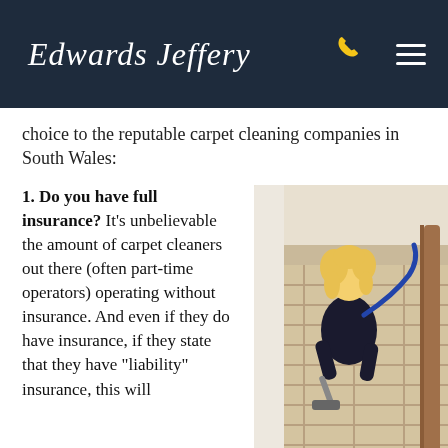Edwards Jeffery
choice to the reputable carpet cleaning companies in South Wales:
1. Do you have full insurance? It's unbelievable the amount of carpet cleaners out there (often part-time operators) operating without insurance. And even if they do have insurance, if they state that they have “liability” insurance, this will
[Figure (photo): A person with blonde curly hair cleaning carpet on a staircase using professional cleaning equipment. The staircase has a plaid/tartan carpet and a wooden banister.]